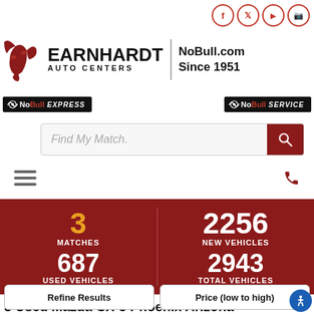[Figure (logo): Earnhardt Auto Centers logo with bull icon, text EARNHARDT AUTO CENTERS and NoBull.com Since 1951]
[Figure (logo): NoBull Express and NoBull Service sub-brand logos]
Find My Match.
3 MATCHES | 687 USED VEHICLES | 2256 NEW VEHICLES | 2943 TOTAL VEHICLES
3 Used Mazda CX-5 Phoenix Arizona
Refine Results
Price (low to high)